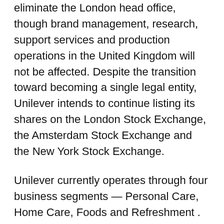eliminate the London head office, though brand management, research, support services and production operations in the United Kingdom will not be affected. Despite the transition toward becoming a single legal entity, Unilever intends to continue listing its shares on the London Stock Exchange, the Amsterdam Stock Exchange and the New York Stock Exchange.
Unilever currently operates through four business segments — Personal Care, Home Care, Foods and Refreshment . The Personal Care segment offers skincare, haircare, deodorant and oral care products through multiple brand names, including Axe, Dove, Lever 2000, Lux, TRESemmé, Vaseline and Dollar Shave Club. The Home Care segment provides home